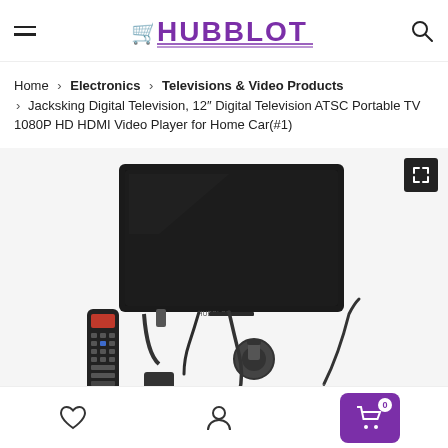HUBBLOT
Home > Electronics > Televisions & Video Products > Jacksking Digital Television, 12" Digital Television ATSC Portable TV 1080P HD HDMI Video Player for Home Car(#1)
[Figure (photo): Product photo of a 12-inch portable digital TV with accessories including remote control, power adapter, car charger, suction cup mount, AV cables, and antenna, displayed on white background]
Navigation icons: wishlist (heart), account (person), cart with badge 0